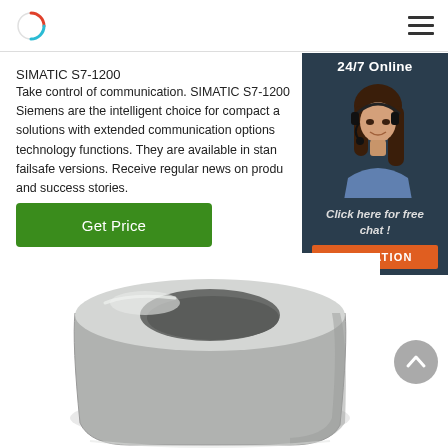SIMATIC S7-1200 [logo and navigation]
SIMATIC S7-1200
Take control of communication. SIMATIC S7-1200 Siemens are the intelligent choice for compact a solutions with extended communication options technology functions. They are available in stan failsafe versions. Receive regular news on produ and success stories.
[Figure (screenshot): 24/7 Online chat widget with photo of a woman wearing a headset, dark blue background, with 'Click here for free chat!' text and orange QUOTATION button]
[Figure (photo): Close-up photo of a metal cylindrical/oval industrial part (sleeve or spacer) made of aluminum or steel, with an oval hollow center, viewed from above at an angle]
[Figure (other): Grey circular scroll-to-top button with upward chevron arrow]